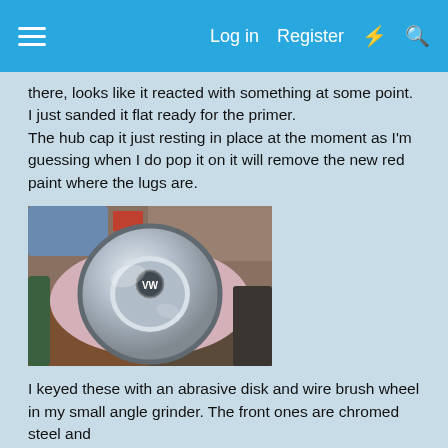Log in  Register
there, looks like it reacted with something at some point. I just sanded it flat ready for the primer.
The hub cap it just resting in place at the moment as I'm guessing when I do pop it on it will remove the new red paint where the lugs are.
[Figure (photo): A chrome VW hub cap resting on a pink cloth on a workbench, photographed from above. A VW logo is visible in the center of the cap. Various tools and items are visible in the background.]
I keyed these with an abrasive disk and wire brush wheel in my small angle grinder. The front ones are chromed steel and